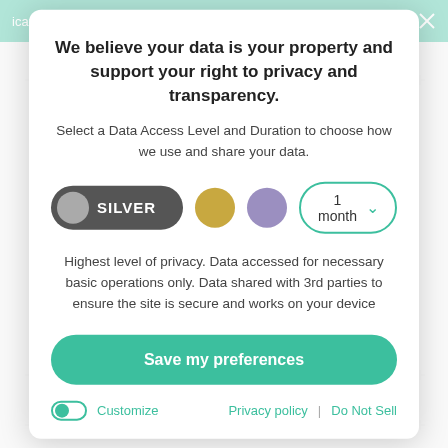icancookthat.org
LEAVE A COMMENT
Lemon Blueberry
We believe your data is your property and support your right to privacy and transparency.
Select a Data Access Level and Duration to choose how we use and share your data.
SILVER  1 month
Highest level of privacy. Data accessed for necessary basic operations only. Data shared with 3rd parties to ensure the site is secure and works on your device
Save my preferences
Customize  Privacy policy  |  Do Not Sell